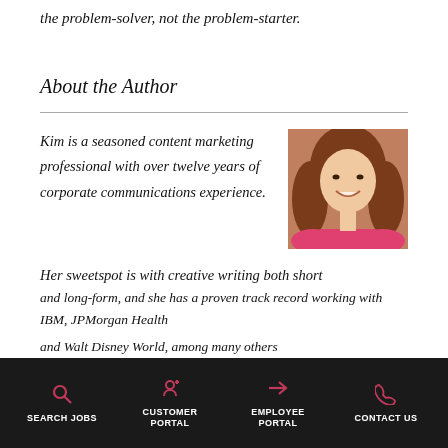the problem-solver, not the problem-starter.
About the Author
Kim is a seasoned content marketing professional with over twelve years of corporate communications experience.
[Figure (photo): Headshot photo of a smiling young woman with long reddish-brown hair, wearing a pink top.]
Her sweetspot is with creative writing both short and long-form, and she has a proven track record working with IBM, JPMorgan Health and Walt Disney World, among many others
SEARCH JOBS  CUSTOMER PORTAL  EMPLOYEE PORTAL  CONTACT US